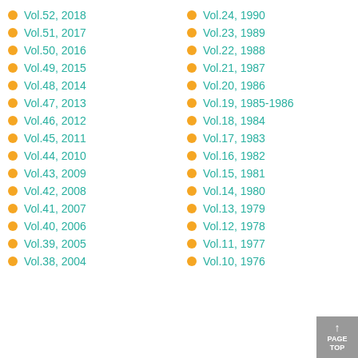Vol.52, 2018
Vol.51, 2017
Vol.50, 2016
Vol.49, 2015
Vol.48, 2014
Vol.47, 2013
Vol.46, 2012
Vol.45, 2011
Vol.44, 2010
Vol.43, 2009
Vol.42, 2008
Vol.41, 2007
Vol.40, 2006
Vol.39, 2005
Vol.38, 2004
Vol.24, 1990
Vol.23, 1989
Vol.22, 1988
Vol.21, 1987
Vol.20, 1986
Vol.19, 1985-1986
Vol.18, 1984
Vol.17, 1983
Vol.16, 1982
Vol.15, 1981
Vol.14, 1980
Vol.13, 1979
Vol.12, 1978
Vol.11, 1977
Vol.10, 1976